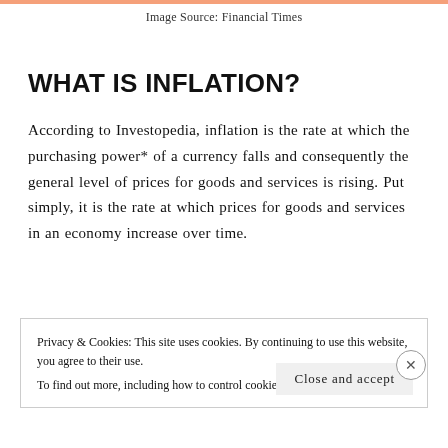Image Source: Financial Times
WHAT IS INFLATION?
According to Investopedia, inflation is the rate at which the purchasing power* of a currency falls and consequently the general level of prices for goods and services is rising. Put simply, it is the rate at which prices for goods and services in an economy increase over time.
Privacy & Cookies: This site uses cookies. By continuing to use this website, you agree to their use.
To find out more, including how to control cookies, see here: Cookie Policy
Close and accept